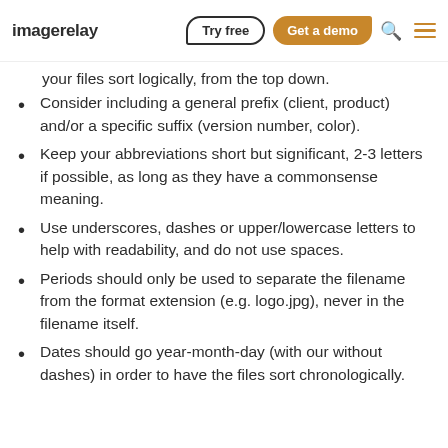imagerelay | Try free | Get a demo
your files sort logically, from the top down.
Consider including a general prefix (client, product) and/or a specific suffix (version number, color).
Keep your abbreviations short but significant, 2-3 letters if possible, as long as they have a commonsense meaning.
Use underscores, dashes or upper/lowercase letters to help with readability, and do not use spaces.
Periods should only be used to separate the filename from the format extension (e.g. logo.jpg), never in the filename itself.
Dates should go year-month-day (with our without dashes) in order to have the files sort chronologically.